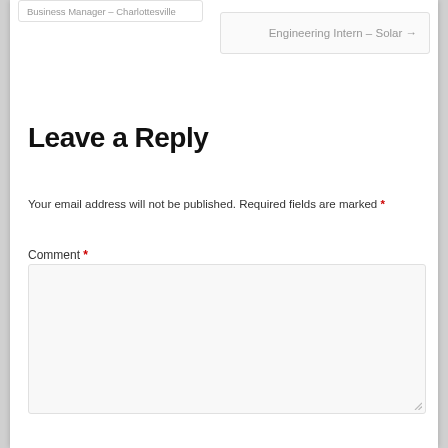Business Manager – Charlottesville
Engineering Intern – Solar →
Leave a Reply
Your email address will not be published. Required fields are marked *
Comment *